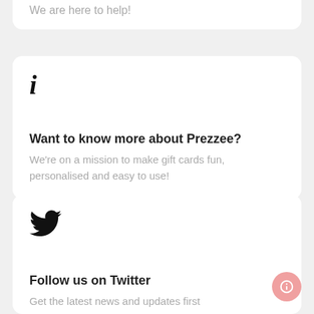We are here to help!
[Figure (illustration): Italic lowercase letter 'i' info icon]
Want to know more about Prezzee?
We're on a mission to make gift cards fun, personalised and easy to use!
[Figure (illustration): Twitter bird logo icon]
Follow us on Twitter
Get the latest news and updates first